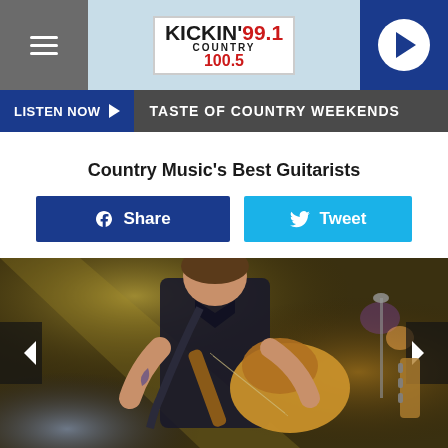Kickin' 99.1 Country 100.5 — LISTEN NOW — TASTE OF COUNTRY WEEKENDS
Country Music's Best Guitarists
Share
Tweet
[Figure (photo): Country music guitarist (Keith Urban) performing on stage, playing electric guitar, wearing black shirt, with tattoo on left arm, stage lighting in background with yellow/gold and blue tones]